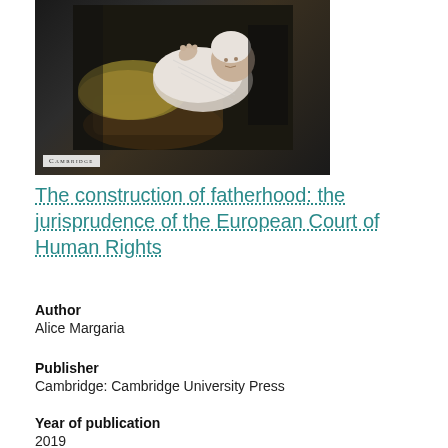[Figure (illustration): Book cover of 'The construction of fatherhood' published by Cambridge University Press. Dark background with a painting of a baby/infant wrapped in white cloth. Cambridge publisher logo visible in bottom-left corner of the cover.]
The construction of fatherhood: the jurisprudence of the European Court of Human Rights
Author
Alice Margaria
Publisher
Cambridge: Cambridge University Press
Year of publication
2019